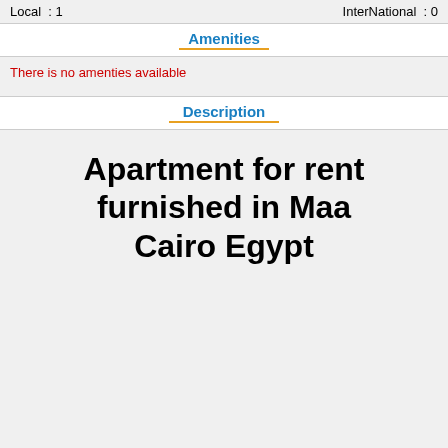Local : 1   InterNational : 0
Amenities
There is no amenties available
Description
Apartment for rent furnished in Maa Cairo Egypt